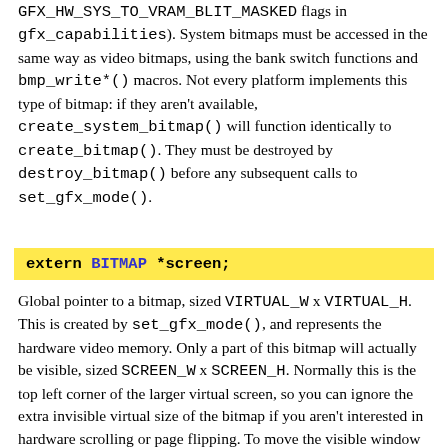GFX_HW_SYS_TO_VRAM_BLIT_MASKED flags in gfx_capabilities). System bitmaps must be accessed in the same way as video bitmaps, using the bank switch functions and bmp_write*() macros. Not every platform implements this type of bitmap: if they aren't available, create_system_bitmap() will function identically to create_bitmap(). They must be destroyed by destroy_bitmap() before any subsequent calls to set_gfx_mode().
extern BITMAP *screen;
Global pointer to a bitmap, sized VIRTUAL_W x VIRTUAL_H. This is created by set_gfx_mode(), and represents the hardware video memory. Only a part of this bitmap will actually be visible, sized SCREEN_W x SCREEN_H. Normally this is the top left corner of the larger virtual screen, so you can ignore the extra invisible virtual size of the bitmap if you aren't interested in hardware scrolling or page flipping. To move the visible window to other parts of the screen bitmap, call scroll_screen(). Initially the clipping rectangle will be limited to the physical screen size, so if you want to draw onto a larger virtual screen space outside this rectangle, you will need to adjust the clipping.